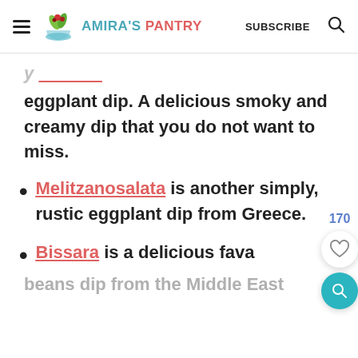AMIRA'S PANTRY | SUBSCRIBE
eggplant dip. A delicious smoky and creamy dip that you do not want to miss.
Melitzanosalata is another simply, rustic eggplant dip from Greece.
Bissara is a delicious fava beans dip from the Middle East